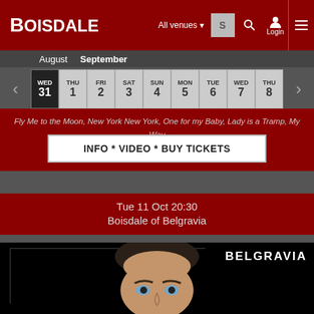BOISDALE — All venues — Login
August   September
| WED | THU | FRI | SAT | SUN | MON | TUE | WED | THU |
| --- | --- | --- | --- | --- | --- | --- | --- | --- |
| 31 | 1 | 2 | 3 | 4 | 5 | 6 | 7 | 8 |
Fly Me to the Moon, New York New York, One for my Baby, Lady is a Tramp, My Way
INFO * VIDEO * BUY TICKETS
Tue 11 Oct 20:30
Boisdale of Belgravia
[Figure (photo): Close-up portrait of a man looking upward, with BELGRAVIA text label in upper right corner on black background]